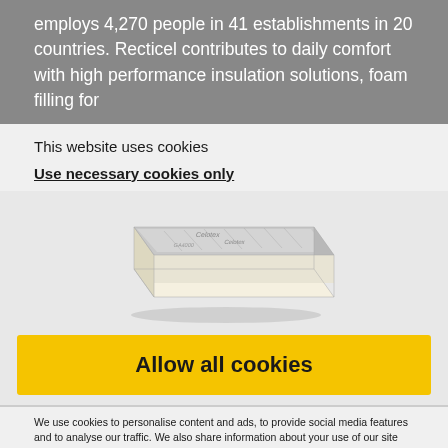employs 4,270 people in 41 establishments in 20 countries. Recticel contributes to daily comfort with high performance insulation solutions, foam filling for
This website uses cookies
Use necessary cookies only
[Figure (photo): A rectangular insulation board with silver/metallic foil facing on top and cream-colored foam core, shown in perspective view]
Allow all cookies
We use cookies to personalise content and ads, to provide social media features and to analyse our traffic. We also share information about your use of our site with our social media, advertising and analytics partners who may combine it with other information that you've provided to them so that they've collected from your use of their services. Mor